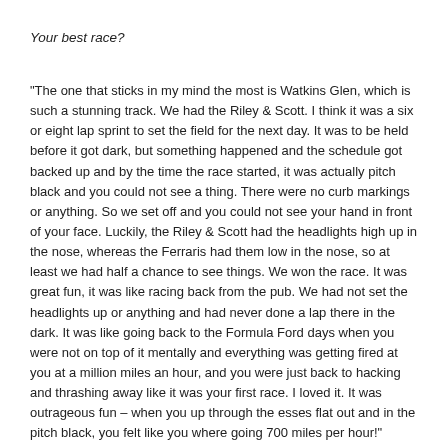Your best race?
“The one that sticks in my mind the most is Watkins Glen, which is such a stunning track. We had the Riley & Scott. I think it was a six or eight lap sprint to set the field for the next day. It was to be held before it got dark, but something happened and the schedule got backed up and by the time the race started, it was actually pitch black and you could not see a thing. There were no curb markings or anything. So we set off and you could not see your hand in front of your face. Luckily, the Riley & Scott had the headlights high up in the nose, whereas the Ferraris had them low in the nose, so at least we had half a chance to see things. We won the race. It was great fun, it was like racing back from the pub. We had not set the headlights up or anything and had never done a lap there in the dark. It was like going back to the Formula Ford days when you were not on top of it mentally and everything was getting fired at you at a million miles an hour, and you were just back to hacking and thrashing away like it was your first race. I loved it. It was outrageous fun – when you up through the esses flat out and in the pitch black, you felt like you where going 700 miles per hour!”